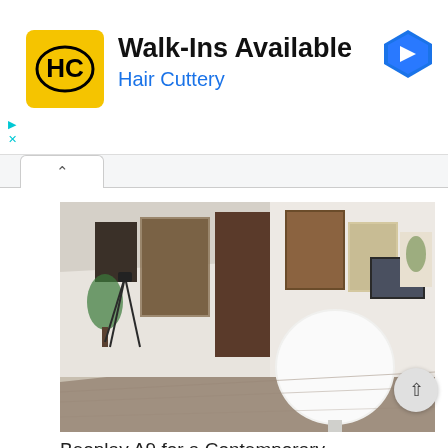[Figure (screenshot): Advertisement banner for Hair Cuttery with yellow logo, 'Walk-Ins Available' heading, and blue navigation arrow icon]
[Figure (photo): Interior hallway with modern art pieces on white walls, wooden floor, and a large white Beoplay A9 speaker in the foreground]
Beoplay A9 for a Contemporary Hall with a Modern Wall Art and Home Audio Beoplay by Bang &